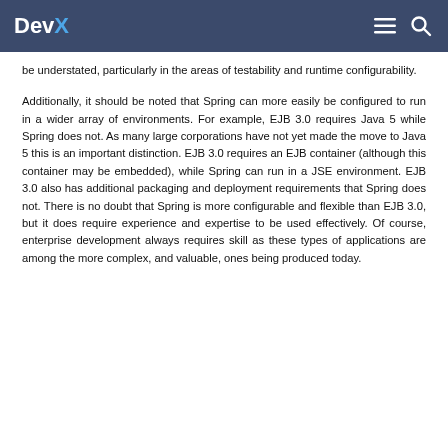DevX
be understated, particularly in the areas of testability and runtime configurability.
Additionally, it should be noted that Spring can more easily be configured to run in a wider array of environments. For example, EJB 3.0 requires Java 5 while Spring does not. As many large corporations have not yet made the move to Java 5 this is an important distinction. EJB 3.0 requires an EJB container (although this container may be embedded), while Spring can run in a JSE environment. EJB 3.0 also has additional packaging and deployment requirements that Spring does not. There is no doubt that Spring is more configurable and flexible than EJB 3.0, but it does require experience and expertise to be used effectively. Of course, enterprise development always requires skill as these types of applications are among the more complex, and valuable, ones being produced today.